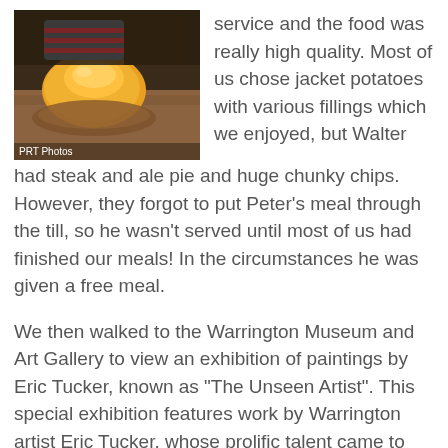[Figure (photo): Photo of a large jacket potato with yellow/orange filling on a wooden board, person in striped top visible in background. Caption: PRT Photos]
service and the food was really high quality. Most of us chose jacket potatoes with various fillings which we enjoyed, but Walter had steak and ale pie and huge chunky chips. However, they forgot to put Peter’s meal through the till, so he wasn’t served until most of us had finished our meals! In the circumstances he was given a free meal.
We then walked to the Warrington Museum and Art Gallery to view an exhibition of paintings by Eric Tucker, known as “The Unseen Artist”. This special exhibition features work by Warrington artist Eric Tucker, whose prolific talent came to light after his death – family members discovered several hundred paintings and thousands of drawings while clearing